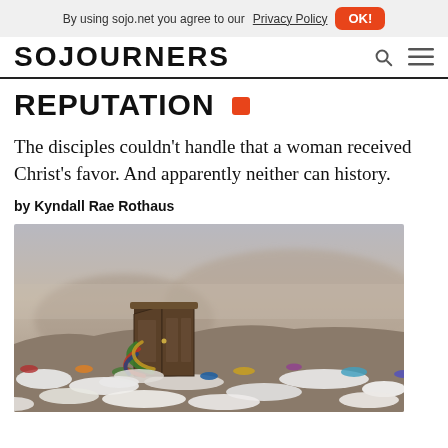By using sojo.net you agree to our Privacy Policy  OK!
SOJOURNERS
REPUTATION 🔒
The disciples couldn't handle that a woman received Christ's favor. And apparently neither can history.
by Kyndall Rae Rothaus
[Figure (photo): A wardrobe/armoire standing open on a large landfill or dump site covered in discarded clothing, with a misty hilly landscape in the background.]